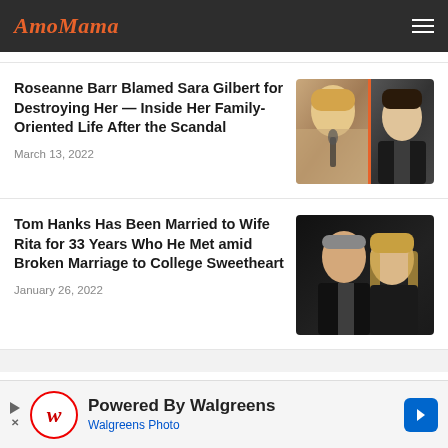AmoMama
Roseanne Barr Blamed Sara Gilbert for Destroying Her — Inside Her Family-Oriented Life After the Scandal
March 13, 2022
[Figure (photo): Split photo of Roseanne Barr on left and Sara Gilbert on right]
Tom Hanks Has Been Married to Wife Rita for 33 Years Who He Met amid Broken Marriage to College Sweetheart
January 26, 2022
[Figure (photo): Photo of Tom Hanks with wife Rita]
Powered By Walgreens
Walgreens Photo